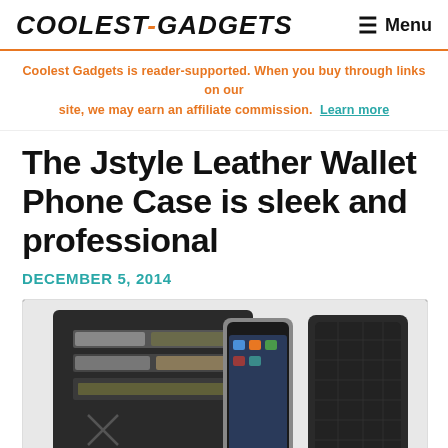COOLEST-GADGETS  ☰ Menu
Coolest Gadgets is reader-supported. When you buy through links on our site, we may earn an affiliate commission. Learn more
The Jstyle Leather Wallet Phone Case is sleek and professional
DECEMBER 5, 2014
[Figure (photo): Photo of the Jstyle Leather Wallet Phone Case shown open with card slots and phone inserted, and closed view on the right, in black leather]